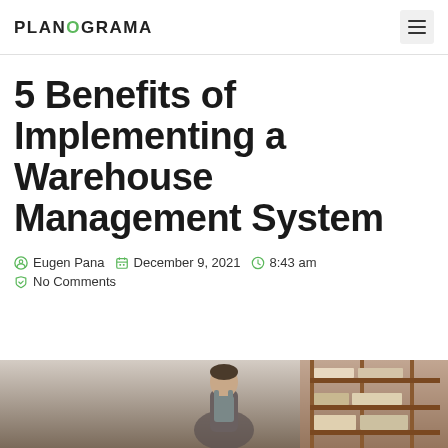PLANOGRAMA
5 Benefits of Implementing a Warehouse Management System
Eugen Pana  December 9, 2021  8:43 am  No Comments
[Figure (photo): Warehouse worker in overalls standing in a warehouse with shelving units stocked with boxes in the background]